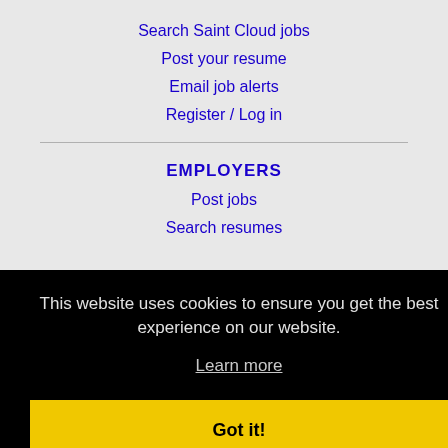Search Saint Cloud jobs
Post your resume
Email job alerts
Register / Log in
EMPLOYERS
Post jobs
Search resumes
This website uses cookies to ensure you get the best experience on our website.
Learn more
Got it!